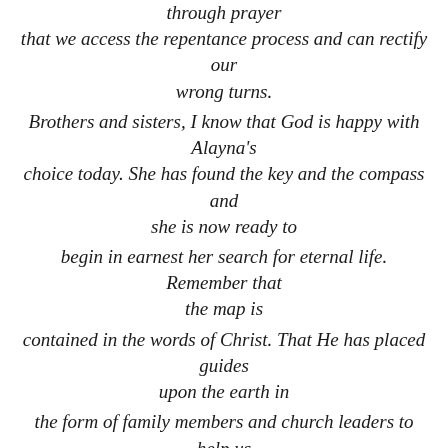through prayer that we access the repentance process and can rectify our wrong turns. Brothers and sisters, I know that God is happy with Alayna's choice today. She has found the key and the compass and she is now ready to begin in earnest her search for eternal life. Remember that the map is contained in the words of Christ. That He has placed guides upon the earth in the form of family members and church leaders to help us stay on the path. Remember to pray always and partake of the Atonement, and she will find what she seeks and live with God forever. In the name of Jesus Christ, Amen." After his talk Alayna entered the Water's of Baptism and Jared baptized her. I was standing in the wings and so I